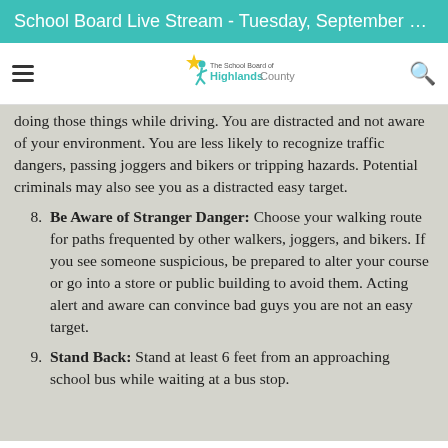School Board Live Stream - Tuesday, September 6, 5:30 ...
[Figure (logo): The School Board of Highlands County logo with teal figure and text]
doing those things while driving. You are distracted and not aware of your environment. You are less likely to recognize traffic dangers, passing joggers and bikers or tripping hazards. Potential criminals may also see you as a distracted easy target.
8. Be Aware of Stranger Danger: Choose your walking route for paths frequented by other walkers, joggers, and bikers. If you see someone suspicious, be prepared to alter your course or go into a store or public building to avoid them. Acting alert and aware can convince bad guys you are not an easy target.
9. Stand Back: Stand at least 6 feet from an approaching school bus while waiting at a bus stop.